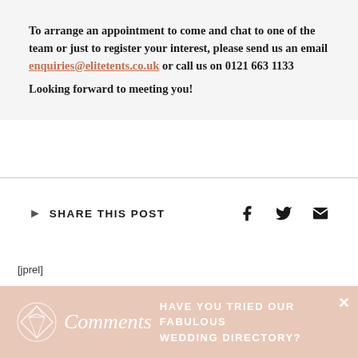To arrange an appointment to come and chat to one of the team or just to register your interest, please send us an email enquiries@elitetents.co.uk  or call us on 0121 663 1133
Looking forward to meeting you!
SHARE THIS POST
[jprel]
HAVE YOU TRIED OUR FABULOUS WEDDING DIRECTORY?
Comments